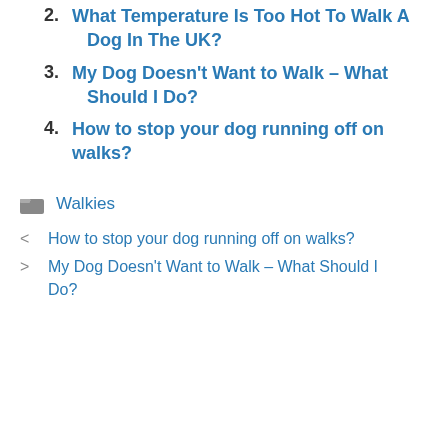2. What Temperature Is Too Hot To Walk A Dog In The UK?
3. My Dog Doesn’t Want to Walk – What Should I Do?
4. How to stop your dog running off on walks?
Walkies
< How to stop your dog running off on walks?
> My Dog Doesn’t Want to Walk – What Should I Do?